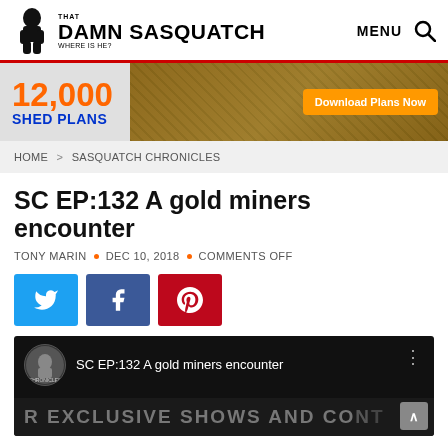THAT DAMN SASQUATCH WHERE IS HE? | MENU
[Figure (screenshot): 12,000 Shed Plans advertisement banner with orange download button]
HOME > SASQUATCH CHRONICLES
SC EP:132 A gold miners encounter
TONY MARIN • DEC 10, 2018 • COMMENTS OFF
[Figure (infographic): Social share buttons: Twitter (blue), Facebook (dark blue), Pinterest (red)]
[Figure (screenshot): YouTube video thumbnail showing SC EP:132 A gold miners encounter with Sasquatch Chronicles channel icon and EXCLUSIVE SHOWS AND CONT text at bottom]